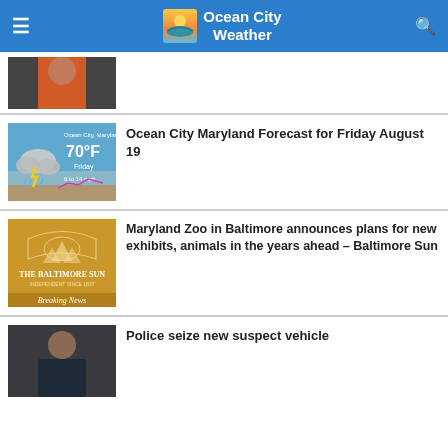Ocean City Weather
[Figure (photo): Person in orange shirt, partial view]
[Figure (screenshot): Ocean City Maryland weather forecast card showing 70°F, Friday, 6 to 14 mph, with storm cloud icon]
Ocean City Maryland Forecast for Friday August 19
[Figure (photo): The Baltimore Sun Breaking News yellow/gold branded image]
Maryland Zoo in Baltimore announces plans for new exhibits, animals in the years ahead – Baltimore Sun
[Figure (photo): Person in dark shirt, partial view]
Police seize new suspect vehicle